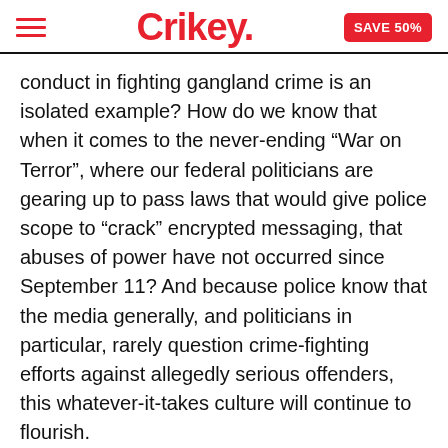Crikey. | SAVE 50%
conduct in fighting gangland crime is an isolated example? How do we know that when it comes to the never-ending “War on Terror”, where our federal politicians are gearing up to pass laws that would give police scope to “crack” encrypted messaging, that abuses of power have not occurred since September 11? And because police know that the media generally, and politicians in particular, rarely question crime-fighting efforts against allegedly serious offenders, this whatever-it-takes culture will continue to flourish.
Greg Barns is a barrister and criminal justice spokesperson for the Australian Lawyers Alliance